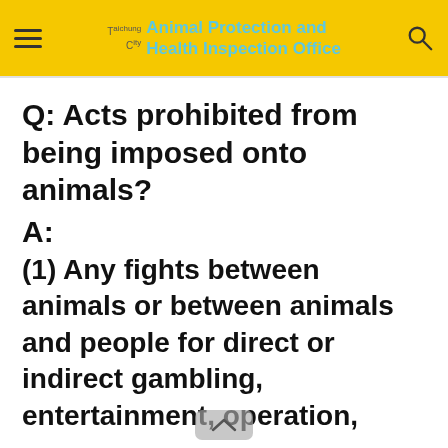Taichung City Animal Protection and Health Inspection Office
Q: Acts prohibited from being imposed onto animals?
A:
(1) Any fights between animals or between animals and people for direct or indirect gambling, entertainment, operation, education, contest, or other purposes;